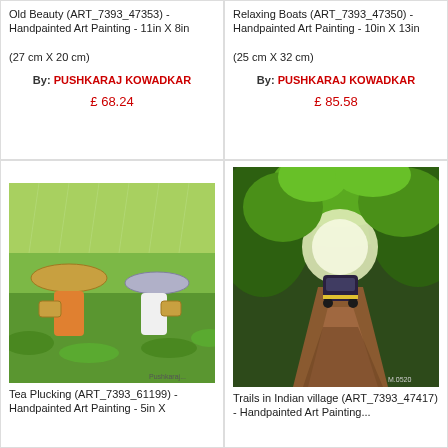Old Beauty (ART_7393_47353) - Handpainted Art Painting - 11in X 8in
(27 cm X 20 cm)
By: PUSHKARAJ KOWADKAR
£ 68.24
Relaxing Boats (ART_7393_47350) - Handpainted Art Painting - 10in X 13in
(25 cm X 32 cm)
By: PUSHKARAJ KOWADKAR
£ 85.58
[Figure (photo): Watercolor painting of women with large hats plucking tea in a green field, carrying baskets]
Tea Plucking (ART_7393_61199) - Handpainted Art Painting - 5in X...
[Figure (photo): Watercolor painting of an auto-rickshaw driving through a lush green tree tunnel on a dirt road in an Indian village]
Trails in Indian village (ART_7393_47417) - Handpainted Art Painting...